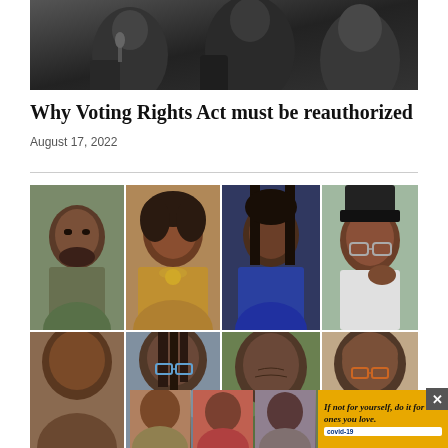[Figure (photo): Black and white photo of people at a meeting or interview, partially visible from top]
Why Voting Rights Act must be reauthorized
August 17, 2022
[Figure (photo): Grid of portrait photos of diverse Black individuals — top row: young man with beard, older woman in yellow top, young woman in blue outfit, woman with cap and glasses]
[Figure (photo): Bottom row of portrait photos partially visible, plus advertisement overlay reading 'If not for yourself, do it for the ones you love.' with covid-19 branding]